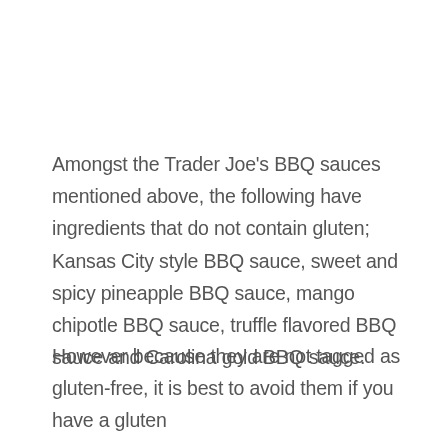Amongst the Trader Joe's BBQ sauces mentioned above, the following have ingredients that do not contain gluten; Kansas City style BBQ sauce, sweet and spicy pineapple BBQ sauce, mango chipotle BBQ sauce, truffle flavored BBQ sauce and Carolina gold BBQ sauce.
However because they are not tagged as gluten-free, it is best to avoid them if you have a gluten